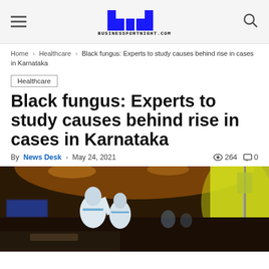BUSINESSFORTNIGHT.COM
Home › Healthcare › Black fungus: Experts to study causes behind rise in cases in Karnataka
Healthcare
Black fungus: Experts to study causes behind rise in cases in Karnataka
By News Desk - May 24, 2021  264  0
[Figure (photo): Healthcare workers in PPE suits attending to COVID-19 patients in a hospital ward with IV drips and medical equipment visible]